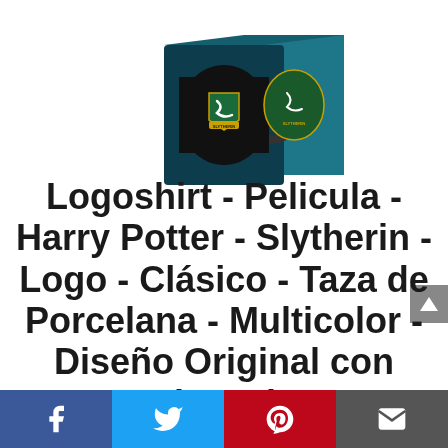[Figure (photo): Harry Potter Slytherin mug with serpent crest logo shown in its gift box. The mug is black with the Slytherin house emblem (serpent and shield). The box is dark teal/navy with the Slytherin crest on the side. Background is white.]
Logoshirt - Pelicula - Harry Potter - Slytherin - Logo - Clásico - Taza de Porcelana - Multicolor - Diseño Original con Licencia
[Figure (infographic): Social sharing bar at the bottom with four buttons: Facebook (blue), Twitter (light blue), Pinterest (red), Email (dark gray)]